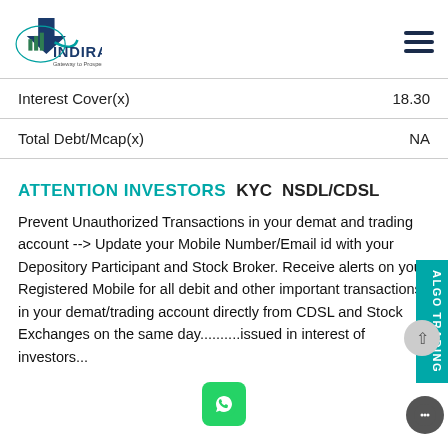[Figure (logo): Indira Securities logo with text 'INDIRA' and 'Gateway to Prosperity']
| Interest Cover(x) | 18.30 |
| Total Debt/Mcap(x) | NA |
ATTENTION INVESTORS   KYC   NSDL/CDSL
Prevent Unauthorized Transactions in your demat and trading account --> Update your Mobile Number/Email id with your Depository Participant and Stock Broker. Receive alerts on your Registered Mobile for all debit and other important transactions in your demat/trading account directly from CDSL and Stock Exchanges on the same day..........issued in interest of investors...